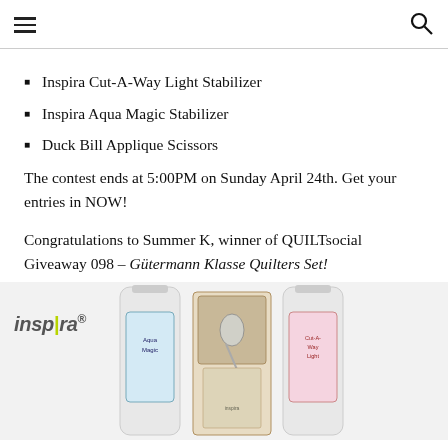Navigation header with hamburger menu and search icon
Inspira Cut-A-Way Light Stabilizer
Inspira Aqua Magic Stabilizer
Duck Bill Applique Scissors
The contest ends at 5:00PM on Sunday April 24th. Get your entries in NOW!
Congratulations to Summer K, winner of QUILTsocial Giveaway 098 – Gütermann Klasse Quilters Set!
[Figure (photo): Inspira brand logo with three product items: Aqua Magic stabilizer bottle, Duck Bill Applique scissors in packaging, and Cut-A-Way Light stabilizer bottle]